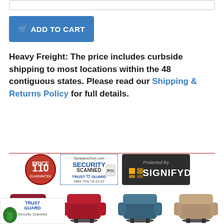[Figure (other): Search bar input field at the top of the page]
[Figure (other): Blue 'Add to Cart' button with shopping cart icon]
Heavy Freight: The price includes curbside shipping to most locations within the 48 contiguous states. Please read our Shipping & Returns Policy for full details.
[Figure (other): Trust badges row: 110 Price Match Guarantee badge, SprayandSun.com Security Scanned PCI Trust Guard Valid Thru 10-12-22 badge, and Protected By Signifyd badge]
[Figure (other): Row of four lift recliner chairs in different colors: dark red/maroon, red, blue, and tan/beige]
[Figure (other): Trust Guard Security Scanned badge at bottom left]